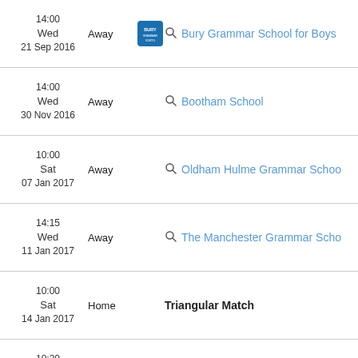| Date/Time | Venue | Logo | School |
| --- | --- | --- | --- |
| 14:00
Wed
21 Sep 2016 | Away | Bury | Bury Grammar School for Boys |
| 14:00
Wed
30 Nov 2016 | Away |  | Bootham School |
| 10:00
Sat
07 Jan 2017 | Away |  | Oldham Hulme Grammar School |
| 14:15
Wed
11 Jan 2017 | Away |  | The Manchester Grammar School |
| 10:00
Sat
14 Jan 2017 | Home |  | Triangular Match |
| 10:30
Sat
14 Jan 2017 | Home |  | RGS, Newcastle |